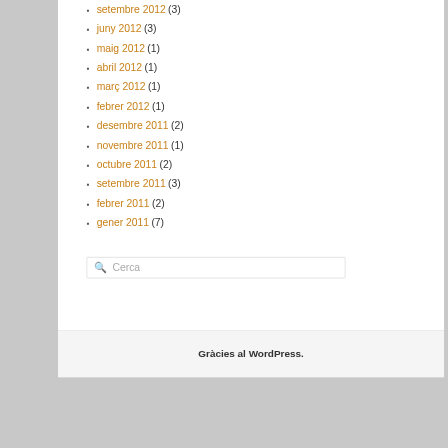setembre 2012 (3)
juny 2012 (3)
maig 2012 (1)
abril 2012 (1)
març 2012 (1)
febrer 2012 (1)
desembre 2011 (2)
novembre 2011 (1)
octubre 2011 (2)
setembre 2011 (3)
febrer 2011 (2)
gener 2011 (7)
Cerca
Gràcies al WordPress.